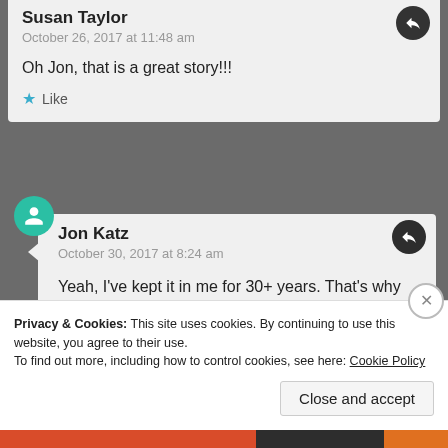Susan Taylor
October 26, 2017 at 11:48 am
Oh Jon, that is a great story!!!
Like
Jon Katz
October 30, 2017 at 8:24 am
Yeah, I've kept it in me for 30+ years. That's why I'm so glad to be able to share it now.
Privacy & Cookies: This site uses cookies. By continuing to use this website, you agree to their use.
To find out more, including how to control cookies, see here: Cookie Policy
Close and accept